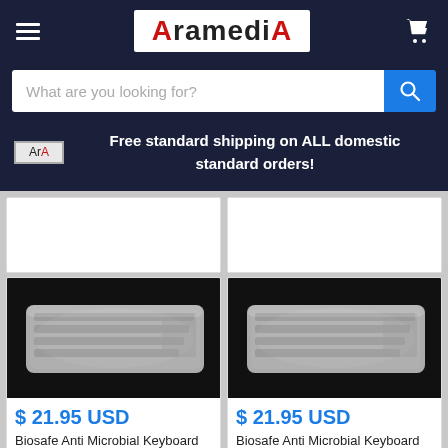AramediA
What are you looking for?
Free standard shipping on ALL domestic standard orders!
[Figure (photo): Biosafe Anti Microbial Keyboard Cover for Gyration GC15CK - product image on black background]
$ 21.95 USD
Biosafe Anti Microbial Keyboard Cover for Gyration GC15CK -
[Figure (photo): Biosafe Anti Microbial Keyboard Cover for Gyration GC15EK - product image on black background]
$ 21.95 USD
Biosafe Anti Microbial Keyboard Cover for Gyration GC15EK